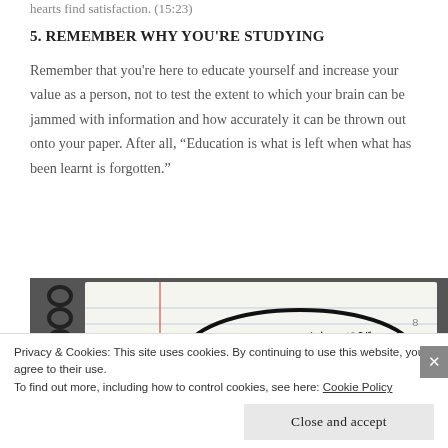hearts find satisfaction. (15:23)
5. REMEMBER WHY YOU'RE STUDYING
Remember that you're here to educate yourself and increase your value as a person, not to test the extent to which your brain can be jammed with information and how accurately it can be thrown out onto your paper. After all, “Education is what is left when what has been learnt is forgotten.”
[Figure (photo): A notebook page with handwritten text reading 'class, this year instead of a final exam,' inside a drawn circle, shown against a dark/grey background.]
Privacy & Cookies: This site uses cookies. By continuing to use this website, you agree to their use.
To find out more, including how to control cookies, see here: Cookie Policy
Close and accept